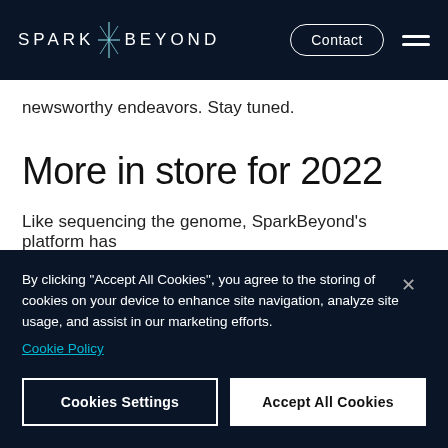SPARK BEYOND
newsworthy endeavors. Stay tuned.
More in store for 2022
Like sequencing the genome, SparkBeyond's platform has
By clicking "Accept All Cookies", you agree to the storing of cookies on your device to enhance site navigation, analyze site usage, and assist in our marketing efforts. Cookie Policy
Cookies Settings
Accept All Cookies